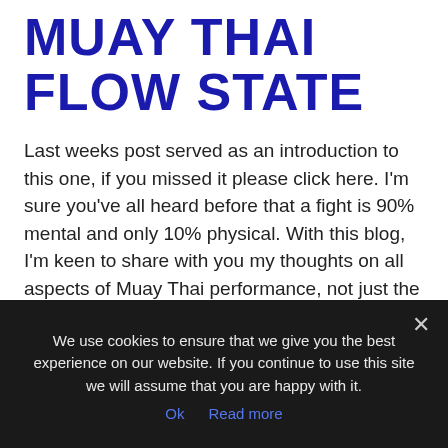MUAY THAI FLOW STATE
Last weeks post served as an introduction to this one, if you missed it please click here. I'm sure you've all heard before that a fight is 90% mental and only 10% physical. With this blog, I'm keen to share with you my thoughts on all aspects of Muay Thai performance, not just the physical. This [...]
We use cookies to ensure that we give you the best experience on our website. If you continue to use this site we will assume that you are happy with it.